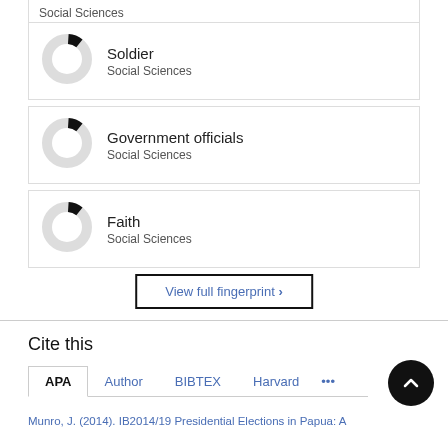Social Sciences
Soldier — Social Sciences
Government officials — Social Sciences
Faith — Social Sciences
View full fingerprint >
Cite this
APA  Author  BIBTEX  Harvard  •••
Munro, J. (2014). IB2014/19 Presidential Elections in Papua: A